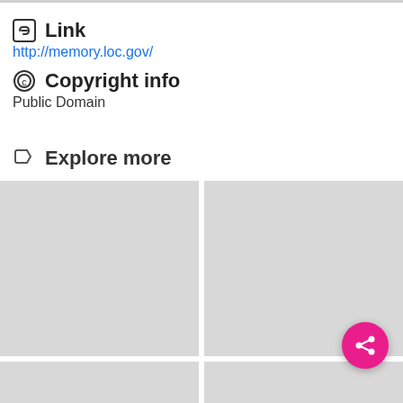🔗 Link
http://memory.loc.gov/
© Copyright info
Public Domain
Explore more
[Figure (other): 2x2 grid of gray placeholder image tiles for 'Explore more' section]
[Figure (other): Pink circular share FAB button in bottom right corner]